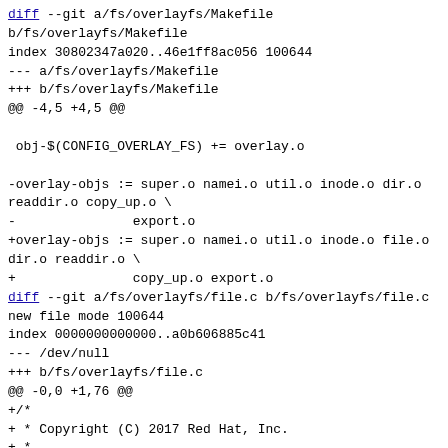diff --git a/fs/overlayfs/Makefile b/fs/overlayfs/Makefile
index 30802347a020..46e1ff8ac056 100644
--- a/fs/overlayfs/Makefile
+++ b/fs/overlayfs/Makefile
@@ -4,5 +4,5 @@

 obj-$(CONFIG_OVERLAY_FS) += overlay.o

-overlay-objs := super.o namei.o util.o inode.o dir.o readdir.o copy_up.o \
-               export.o
+overlay-objs := super.o namei.o util.o inode.o file.o dir.o readdir.o \
+               copy_up.o export.o
diff --git a/fs/overlayfs/file.c b/fs/overlayfs/file.c
new file mode 100644
index 0000000000000..a0b606885c41
--- /dev/null
+++ b/fs/overlayfs/file.c
@@ -0,0 +1,76 @@
+/*
+ * Copyright (C) 2017 Red Hat, Inc.
+ *
+ * This program is free software; you can redistribute it and/or modify it
+ * under the terms of the GNU General Public License version 2 as published by
+ * the Free Software Foundation.
+ */